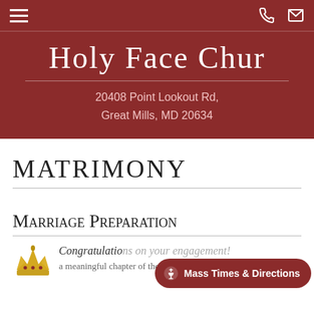Navigation bar with hamburger menu, phone icon, and email icon
Holy Face Chur
20408 Point Lookout Rd, Great Mills, MD 20634
MATRIMONY
Marriage Preparation
Congratulations on your engagement!
[Figure (illustration): Gold decorative crown or fleur-de-lis emblem at bottom left]
Mass Times & Directions